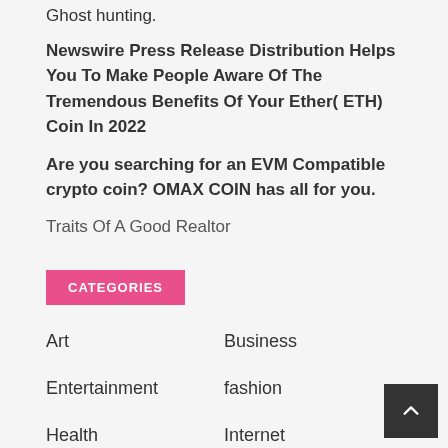Ghost hunting.
Newswire Press Release Distribution Helps You To Make People Aware Of The Tremendous Benefits Of Your Ether( ETH) Coin In 2022
Are you searching for an EVM Compatible crypto coin? OMAX COIN has all for you.
Traits Of A Good Realtor
CATEGORIES
Art
Business
Entertainment
fashion
Health
Internet
Markets
Music
Technology
Uncategorized